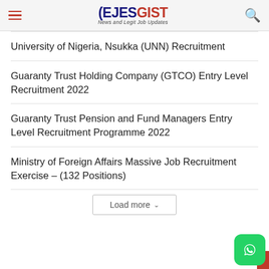EJESGIST — News and Legit Job Updates
University of Nigeria, Nsukka (UNN) Recruitment
Guaranty Trust Holding Company (GTCO) Entry Level Recruitment 2022
Guaranty Trust Pension and Fund Managers Entry Level Recruitment Programme 2022
Ministry of Foreign Affairs Massive Job Recruitment Exercise – (132 Positions)